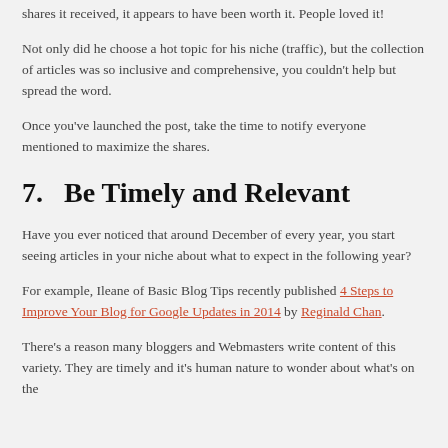shares it received, it appears to have been worth it. People loved it!
Not only did he choose a hot topic for his niche (traffic), but the collection of articles was so inclusive and comprehensive, you couldn't help but spread the word.
Once you've launched the post, take the time to notify everyone mentioned to maximize the shares.
7.   Be Timely and Relevant
Have you ever noticed that around December of every year, you start seeing articles in your niche about what to expect in the following year?
For example, Ileane of Basic Blog Tips recently published 4 Steps to Improve Your Blog for Google Updates in 2014 by Reginald Chan.
There's a reason many bloggers and Webmasters write content of this variety. They are timely and it's human nature to wonder about what's on the